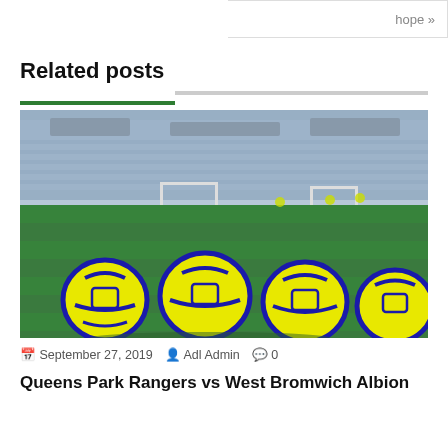hope »
Related posts
[Figure (photo): Yellow and blue Umbro footballs on green grass pitch in front of a stadium with blue seats]
September 27, 2019  Adl Admin  0
Queens Park Rangers vs West Bromwich Albion